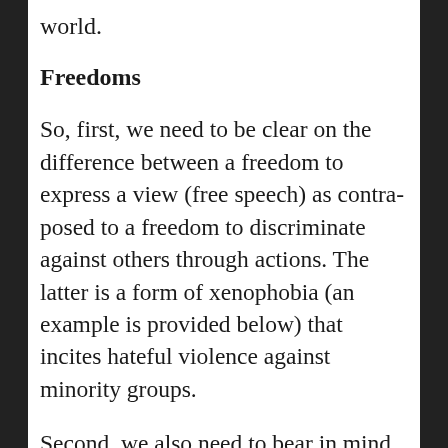world.
Freedoms
So, first, we need to be clear on the difference between a freedom to express a view (free speech) as contra-posed to a freedom to discriminate against others through actions. The latter is a form of xenophobia (an example is provided below) that incites hateful violence against minority groups.
Second, we also need to bear in mind